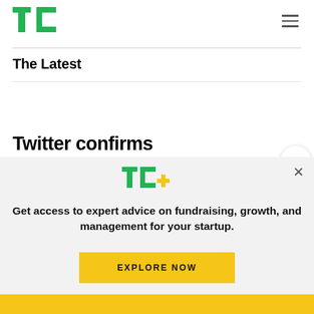[Figure (logo): TechCrunch TC logo in green]
The Latest
Twitter confirms fluctuations in follower
[Figure (logo): TC+ logo with green TC and yellow plus sign, with promotional modal: Get access to expert advice on fundraising, growth, and management for your startup. EXPLORE NOW button.]
Get access to expert advice on fundraising, growth, and management for your startup.
EXPLORE NOW